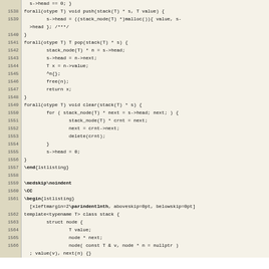Code listing lines 1538-1566, showing forall/template generic stack implementation in a LaTeX lstlisting context with C++ and ForAll language constructs.